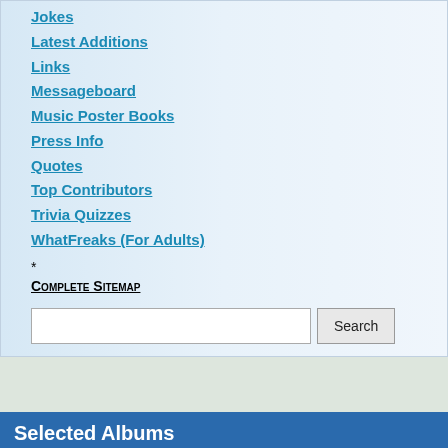Jokes
Latest Additions
Links
Messageboard
Music Poster Books
Press Info
Quotes
Top Contributors
Trivia Quizzes
WhatFreaks (For Adults)
* Complete Sitemap
Selected Albums
[Figure (illustration): Album cover for Julie London - Sings the Standards with orange and beige design]